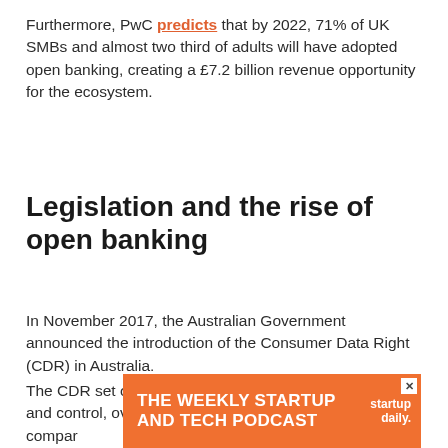Furthermore, PwC predicts that by 2022, 71% of UK SMBs and almost two third of adults will have adopted open banking, creating a £7.2 billion revenue opportunity for the ecosystem.
Legislation and the rise of open banking
In November 2017, the Australian Government announced the introduction of the Consumer Data Right (CDR) in Australia.
The CDR set out to give consumers greater access to, and control, over their data, and improve their ability to compare and encourage
[Figure (other): Orange advertisement banner for 'The Weekly Startup and Tech Podcast' by startup daily, with a close/X button in the top right corner.]